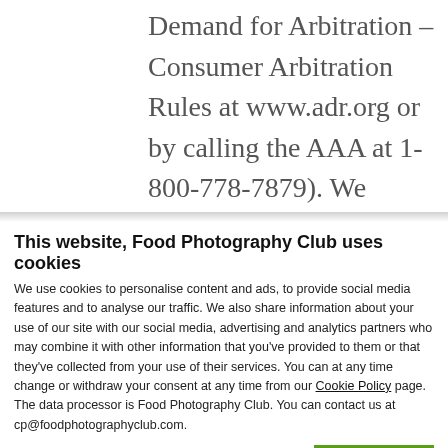Demand for Arbitration – Consumer Arbitration Rules at www.adr.org or by calling the AAA at 1-800-778-7879). We hereby consent to receive such notifications via the Contact page on the Site. The Arbitrator will be
This website, Food Photography Club uses cookies
We use cookies to personalise content and ads, to provide social media features and to analyse our traffic. We also share information about your use of our site with our social media, advertising and analytics partners who may combine it with other information that you've provided to them or that they've collected from your use of their services. You can at any time change or withdraw your consent at any time from our Cookie Policy page. The data processor is Food Photography Club. You can contact us at cp@foodphotographyclub.com.
[Figure (screenshot): Cookie consent panel with OK button, checkboxes for Necessary (checked), Preferences (checked), Statistics (checked), Marketing (unchecked), Show details link, and a green chat button]